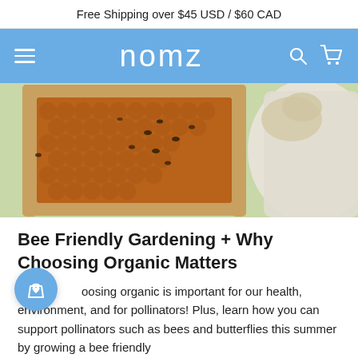Free Shipping over $45 USD / $60 CAD
[Figure (logo): nomz brand navigation bar with hamburger menu, nomz logo in white on sky blue background, search and cart icons]
[Figure (photo): Close-up photo of a beekeeper in white suit holding a honeycomb frame covered in bees, with green background]
Bee Friendly Gardening + Why Choosing Organic Matters
Why choosing organic is important for our health, environment, and for pollinators! Plus, learn how you can support pollinators such as bees and butterflies this summer by growing a bee friendly